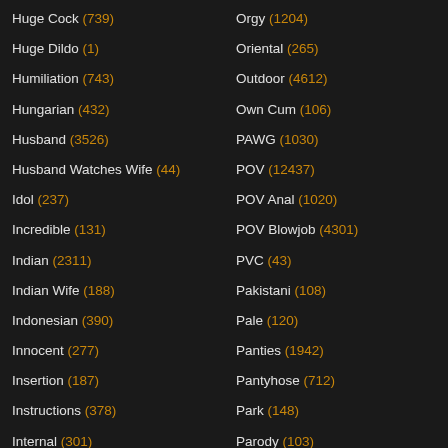Huge Cock (739)
Huge Dildo (1)
Humiliation (743)
Hungarian (432)
Husband (3526)
Husband Watches Wife (44)
Idol (237)
Incredible (131)
Indian (2311)
Indian Wife (188)
Indonesian (390)
Innocent (277)
Insertion (187)
Instructions (378)
Internal (301)
Orgy (1204)
Oriental (265)
Outdoor (4612)
Own Cum (106)
PAWG (1030)
POV (12437)
POV Anal (1020)
POV Blowjob (4301)
PVC (43)
Pakistani (108)
Pale (120)
Panties (1942)
Pantyhose (712)
Park (148)
Parody (103)